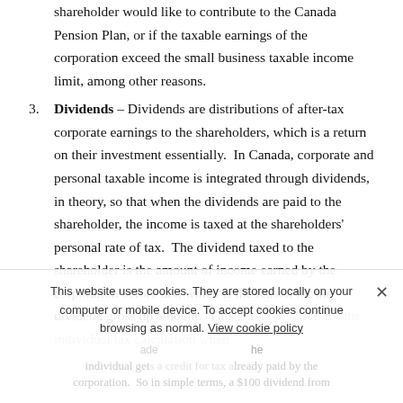shareholder would like to contribute to the Canada Pension Plan, or if the taxable earnings of the corporation exceed the small business taxable income limit, among other reasons.
Dividends – Dividends are distributions of after-tax corporate earnings to the shareholders, which is a return on their investment essentially. In Canada, corporate and personal taxable income is integrated through dividends, in theory, so that when the dividends are paid to the shareholder, the income is taxed at the shareholders' personal rate of tax. The dividend taxed to the shareholder is the amount of income earned by the corporation before tax, which is the reason for the dividend gross up amount. This amount is used for the individual tax calculation when adding...
This website uses cookies. They are stored locally on your computer or mobile device. To accept cookies continue browsing as normal. View cookie policy